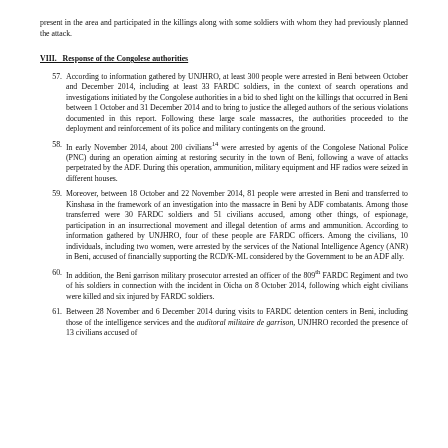present in the area and participated in the killings along with some soldiers with whom they had previously planned the attack.
VIII. Response of the Congolese authorities
57. According to information gathered by UNJHRO, at least 300 people were arrested in Beni between October and December 2014, including at least 33 FARDC soldiers, in the context of search operations and investigations initiated by the Congolese authorities in a bid to shed light on the killings that occurred in Beni between 1 October and 31 December 2014 and to bring to justice the alleged authors of the serious violations documented in this report. Following these large scale massacres, the authorities proceeded to the deployment and reinforcement of its police and military contingents on the ground.
58. In early November 2014, about 200 civilians were arrested by agents of the Congolese National Police (PNC) during an operation aiming at restoring security in the town of Beni, following a wave of attacks perpetrated by the ADF. During this operation, ammunition, military equipment and HF radios were seized in different houses.
59. Moreover, between 18 October and 22 November 2014, 81 people were arrested in Beni and transferred to Kinshasa in the framework of an investigation into the massacre in Beni by ADF combatants. Among those transferred were 30 FARDC soldiers and 51 civilians accused, among other things, of espionage, participation in an insurrectional movement and illegal detention of arms and ammunition. According to information gathered by UNJHRO, four of these people are FARDC officers. Among the civilians, 10 individuals, including two women, were arrested by the services of the National Intelligence Agency (ANR) in Beni, accused of financially supporting the RCD/K-ML considered by the Government to be an ADF ally.
60. In addition, the Beni garrison military prosecutor arrested an officer of the 809th FARDC Regiment and two of his soldiers in connection with the incident in Oicha on 8 October 2014, following which eight civilians were killed and six injured by FARDC soldiers.
61. Between 28 November and 6 December 2014 during visits to FARDC detention centers in Beni, including those of the intelligence services and the auditoral militaire de garrison, UNJHRO recorded the presence of 13 civilians accused of